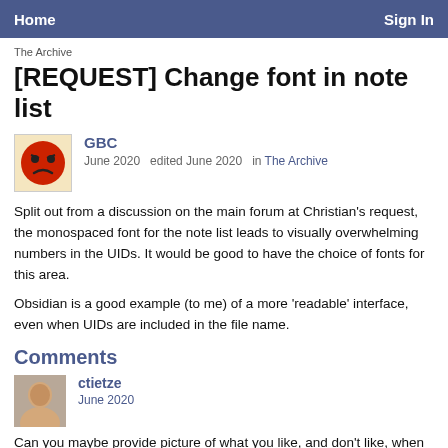Home    Sign In
The Archive
[REQUEST] Change font in note list
GBC
June 2020   edited June 2020   in The Archive
Split out from a discussion on the main forum at Christian's request, the monospaced font for the note list leads to visually overwhelming numbers in the UIDs. It would be good to have the choice of fonts for this area.
Obsidian is a good example (to me) of a more 'readable' interface, even when UIDs are included in the file name.
Comments
ctietze
June 2020
Can you maybe provide picture of what you like, and don't like, when it